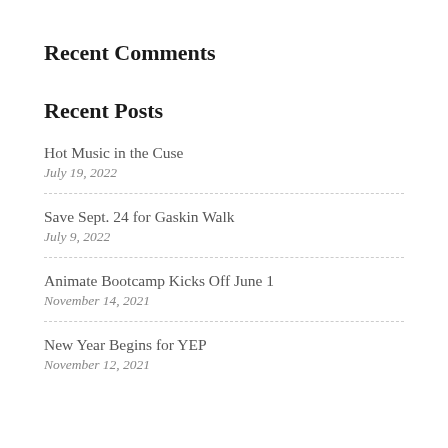Recent Comments
Recent Posts
Hot Music in the Cuse
July 19, 2022
Save Sept. 24 for Gaskin Walk
July 9, 2022
Animate Bootcamp Kicks Off June 1
November 14, 2021
New Year Begins for YEP
November 12, 2021